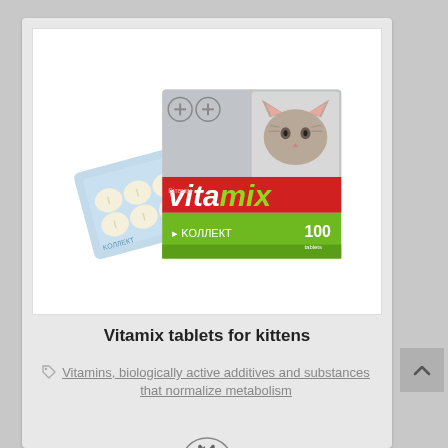[Figure (photo): Product photo of Vitamix tablets for kittens: a box with a cat image and red/green labeling, with a blister pack of tablets in front]
Vitamix tablets for kittens
Vitamins, biologically active additives and substances that normalize metabolism
[Figure (illustration): Small circular icon with a cat silhouette inside]